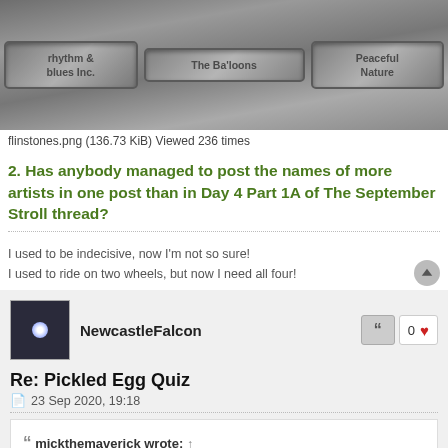[Figure (photo): Stone wall with engraved text blocks reading 'rhythm & blues Inc.', 'The Balloons', 'Peaceful Nature']
flinstones.png (136.73 KiB) Viewed 236 times
2. Has anybody managed to post the names of more artists in one post than in Day 4 Part 1A of The September Stroll thread?
I used to be indecisive, now I'm not so sure!
I used to ride on two wheels, but now I need all four!
NewcastleFalcon
Re: Pickled Egg Quiz
23 Sep 2020, 19:18
mickthemaverick wrote: ↑
A couple of simple questions arising from The